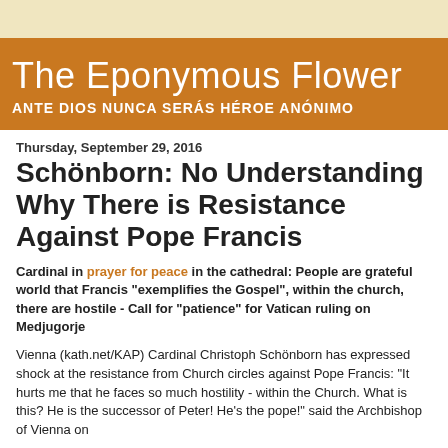The Eponymous Flower | ANTE DIOS NUNCA SERÁS HÉROE ANÓNIMO
Thursday, September 29, 2016
Schönborn: No Understanding Why There is Resistance Against Pope Francis
Cardinal in prayer for peace in the cathedral: People are grateful world that Francis "exemplifies the Gospel", within the church, there are hostile - Call for "patience" for Vatican ruling on Medjugorje
Vienna (kath.net/KAP) Cardinal Christoph Schönborn has expressed shock at the resistance from Church circles against Pope Francis: "It hurts me that he faces so much hostility - within the Church. What is this? He is the successor of Peter! He's the pope!" said the Archbishop of Vienna on